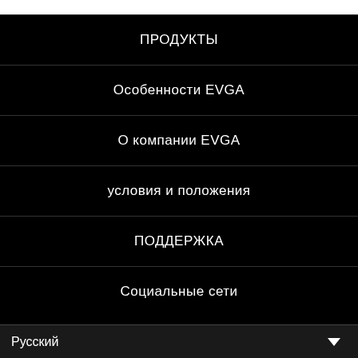ПРОДУКТЫ
Особенности EVGA
О компании EVGA
условия и положения
ПОДДЕРЖКА
Социальные сети
Русский